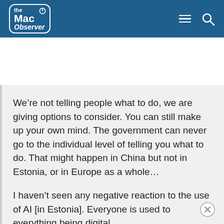the Mac Observer
We’re not telling people what to do, we are giving options to consider. You can still make up your own mind. The government can never go to the individual level of telling you what to do. That might happen in China but not in Estonia, or in Europe as a whole…
I haven’t seen any negative reaction to the use of AI [in Estonia]. Everyone is used to everything being digital. The government is being extremely transparent and everyone can see what data is being collected.